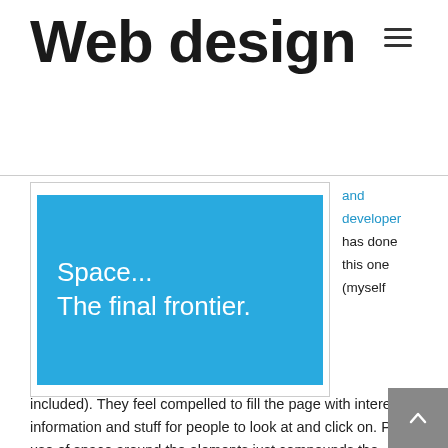Web design
[Figure (illustration): Blue rectangle containing white text: 'Space... The final frontier.']
and developer has done this one (myself included). They feel compelled to fill the page with interesting information and stuff for people to look at and click on. Poor use of space around the elements just compounds the problem and the result is a cluttered mess with no clear purpose.
Humans crave simplicity, and it can be easier for you to